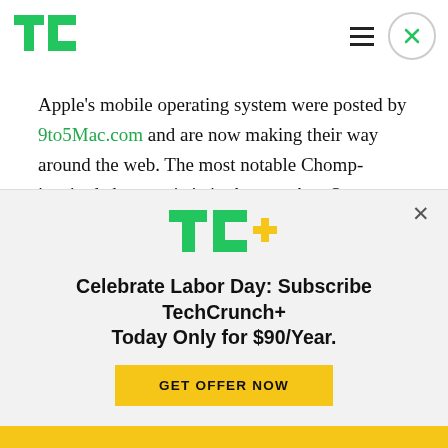TechCrunch logo, hamburger menu, close button
Apple's mobile operating system were posted by 9to5Mac.com and are now making their way around the web. The most notable Chomp-inspired characteristic in the new App Store design? Swipeable cards for browsing through apps instead of lists featuring small icons and text.

In Chomp's original iOS application, app search is
[Figure (logo): TechCrunch+ logo with green TC and yellow plus sign]
Celebrate Labor Day: Subscribe TechCrunch+ Today Only for $90/Year.
GET OFFER NOW